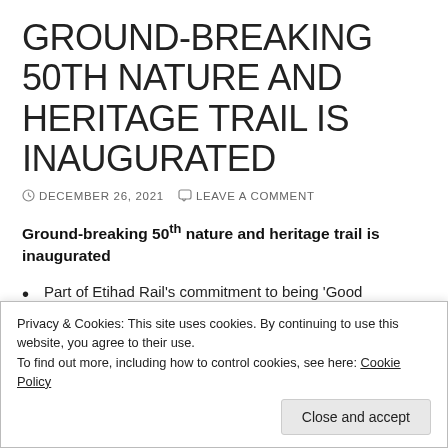GROUND-BREAKING 50TH NATURE AND HERITAGE TRAIL IS INAUGURATED
DECEMBER 26, 2021   LEAVE A COMMENT
Ground-breaking 50th nature and heritage trail is inaugurated
Part of Etihad Rail's commitment to being 'Good Neighbour' to the local communities surrounding the UAE's National Rail network
First nature and heritage trail built by members of the...
Privacy & Cookies: This site uses cookies. By continuing to use this website, you agree to their use.
To find out more, including how to control cookies, see here: Cookie Policy
Close and accept